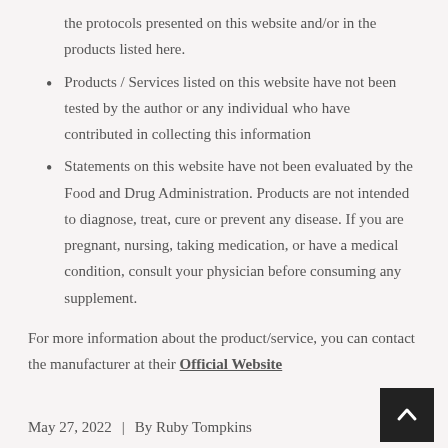the protocols presented on this website and/or in the products listed here.
Products / Services listed on this website have not been tested by the author or any individual who have contributed in collecting this information
Statements on this website have not been evaluated by the Food and Drug Administration. Products are not intended to diagnose, treat, cure or prevent any disease. If you are pregnant, nursing, taking medication, or have a medical condition, consult your physician before consuming any supplement.
For more information about the product/service, you can contact the manufacturer at their Official Website
May 27, 2022  |  By Ruby Tompkins